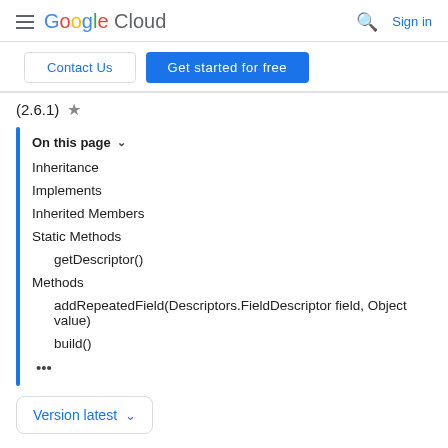Google Cloud | Contact Us | Get started for free | Sign in
(2.6.1)
On this page
Inheritance
Implements
Inherited Members
Static Methods
getDescriptor()
Methods
addRepeatedField(Descriptors.FieldDescriptor field, Object value)
build()
...
Version latest